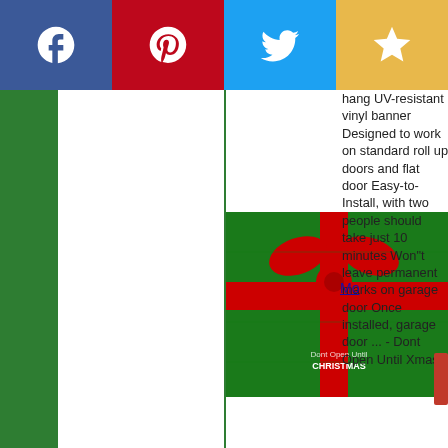[Figure (infographic): Social share bar with four buttons: Facebook (blue, f icon), Pinterest (red, P icon), Twitter (light blue, bird icon), Star/bookmark (yellow, star icon)]
[Figure (photo): A garage door decorated as a giant Christmas present with green background and red bow ribbon, with text 'Dont Open Until Xmas']
hang UV-resistant vinyl banner Designed to work on standard roll up doors and flat door Easy-to-Install, with two people should take just 10 minutes Won"t leave permanent marks on garage door Once installed, garage door ... - Dont Open Until Xmas
[Figure (other): Partially visible 'Mo' hyperlink (likely 'More')]
[Figure (other): Partially visible red button on right edge]